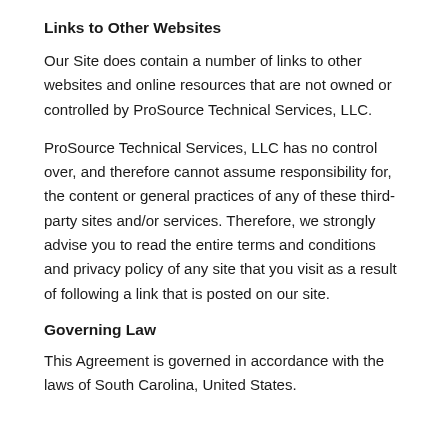Links to Other Websites
Our Site does contain a number of links to other websites and online resources that are not owned or controlled by ProSource Technical Services, LLC.
ProSource Technical Services, LLC has no control over, and therefore cannot assume responsibility for, the content or general practices of any of these third-party sites and/or services. Therefore, we strongly advise you to read the entire terms and conditions and privacy policy of any site that you visit as a result of following a link that is posted on our site.
Governing Law
This Agreement is governed in accordance with the laws of South Carolina, United States.